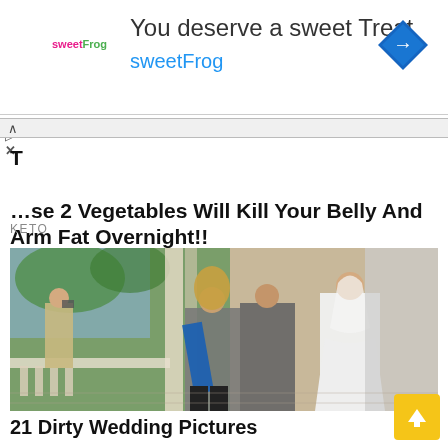[Figure (screenshot): Advertisement banner for sweetFrog with text 'You deserve a sweet Treat' and 'sweetFrog' with blue navigation icon]
These 2 Vegetables Will Kill Your Belly And Arm Fat Overnight!!
KETO
[Figure (photo): Wedding photo showing a man in gray suit and a bride in white dress with veil, another woman in blue sash and black boots, and a man photographing them in the background against a painted scenic backdrop]
21 Dirty Wedding Pictures